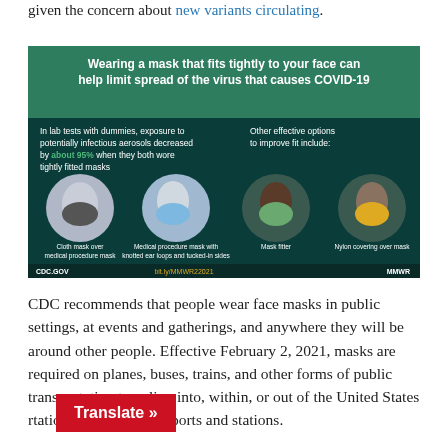given the concern about new variants circulating.
[Figure (infographic): CDC infographic: Wearing a mask that fits tightly to your face can help limit spread of the virus that causes COVID-19. In lab tests with dummies, exposure to potentially infectious aerosols decreased by about 95% when they both wore tightly fitted masks. Other effective options to improve fit include: Cloth mask over medical procedure mask, Medical procedure mask with knotted ear loops and tucked-in sides, Mask fitter, Nylon covering over mask. CDC.GOV bit.ly/MMWR22021 MMWR]
CDC recommends that people wear face masks in public settings, at events and gatherings, and anywhere they will be around other people. Effective February 2, 2021, masks are required on planes, buses, trains, and other forms of public transportation traveling into, within, or out of the United States and transportation hubs such as airports and stations.